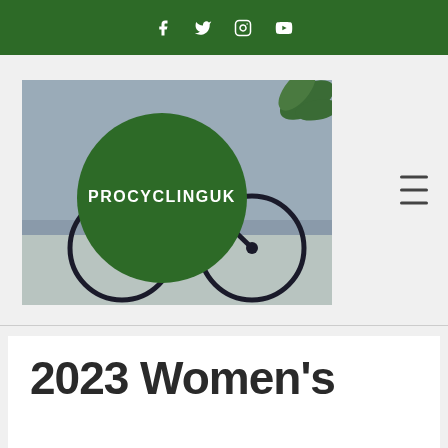Social media icons: Facebook, Twitter, Instagram, YouTube
[Figure (logo): ProcyclingUK logo: photo of a bicycle with a large green circle overlaid containing the text PROCYCLINGUK in white capital letters, with tropical plant leaves visible in the top right corner]
2023 Women's